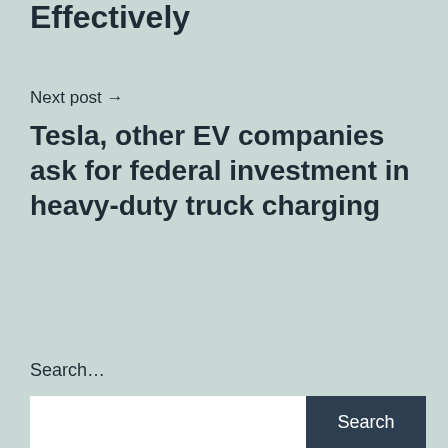Effectively
Next post →
Tesla, other EV companies ask for federal investment in heavy-duty truck charging
Search…
[Figure (other): Search input field with Search button]